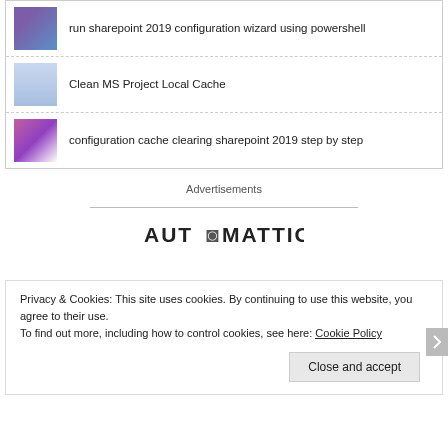run sharepoint 2019 configuration wizard using powershell
Clean MS Project Local Cache
configuration cache clearing sharepoint 2019 step by step
Advertisements
[Figure (logo): Automattic logo in dark text]
Privacy & Cookies: This site uses cookies. By continuing to use this website, you agree to their use.
To find out more, including how to control cookies, see here: Cookie Policy
Close and accept